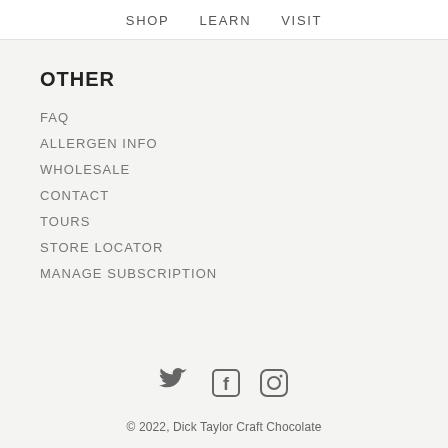SHOP  LEARN  VISIT
OTHER
FAQ
ALLERGEN INFO
WHOLESALE
CONTACT
TOURS
STORE LOCATOR
MANAGE SUBSCRIPTION
[Figure (infographic): Social media icons: Twitter bird, Facebook F, Instagram camera]
© 2022, Dick Taylor Craft Chocolate